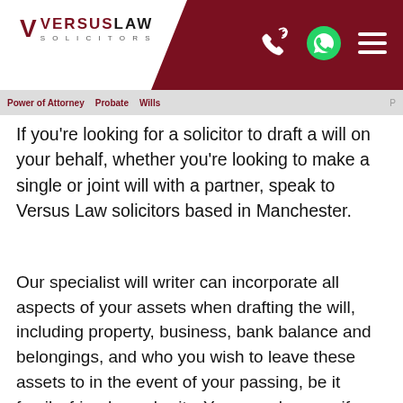VersusLaw Solicitors
If you're looking for a solicitor to draft a will on your behalf, whether you're looking to make a single or joint will with a partner, speak to Versus Law solicitors based in Manchester.
Our specialist will writer can incorporate all aspects of your assets when drafting the will, including property, business, bank balance and belongings, and who you wish to leave these assets to in the event of your passing, be it family, friends or charity. You can also specify instructions for your funeral, name guardians for your children and name executors for your will. If you desire to leave assets to children, you can choose to establish a trust which will specify when